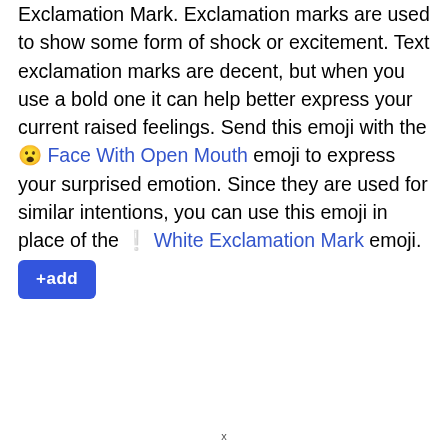Exclamation Mark. Exclamation marks are used to show some form of shock or excitement. Text exclamation marks are decent, but when you use a bold one it can help better express your current raised feelings. Send this emoji with the 😮 Face With Open Mouth emoji to express your surprised emotion. Since they are used for similar intentions, you can use this emoji in place of the ❕ White Exclamation Mark emoji.
+add